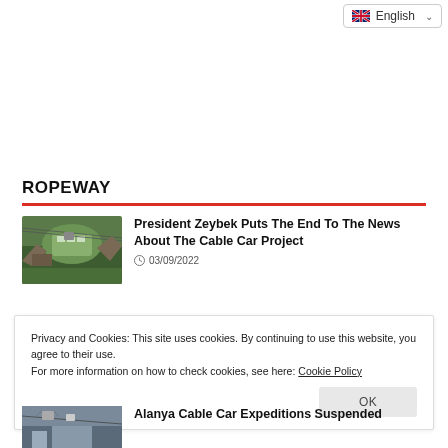English
ROPEWAY
President Zeybek Puts The End To The News About The Cable Car Project
03/09/2022
Privacy and Cookies: This site uses cookies. By continuing to use this website, you agree to their use.
For more information on how to check cookies, see here: Cookie Policy
OK
Alanya Cable Car Expeditions Suspended